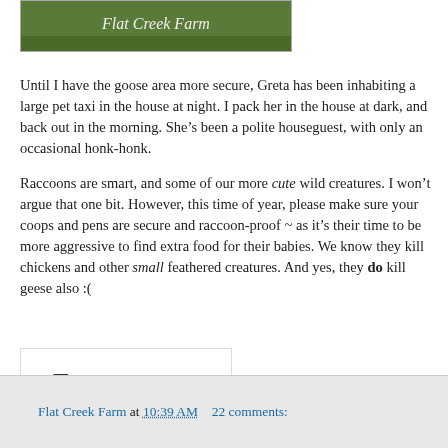[Figure (photo): Flat Creek Farm banner/logo image with green grassy background and cursive text 'Flat Creek Farm']
Until I have the goose area more secure, Greta has been inhabiting a large pet taxi in the house at night. I pack her in the house at dark, and back out in the morning. She's been a polite houseguest, with only an occasional honk-honk.
Raccoons are smart, and some of our more cute wild creatures. I won't argue that one bit. However, this time of year, please make sure your coops and pens are secure and raccoon-proof ~ as it's their time to be more aggressive to find extra food for their babies. We know they kill chickens and other small feathered creatures. And yes, they do kill geese also :(
[Figure (illustration): Handwritten cursive signature reading 'Tammy' with a small decorative turtle or snail illustration below]
Flat Creek Farm at 10:39 AM   22 comments: